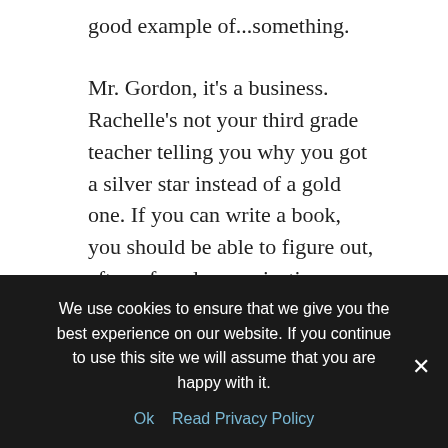good example of...something.
Mr. Gordon, it's a business. Rachelle's not your third grade teacher telling you why you got a silver star instead of a gold one. If you can write a book, you should be able to figure out, after a few dozen rejections, what's wrong and why it's wrong. And then, fix it and try again.
If you're demanding a reason why it's not right for her... you're really demanding a mini-crit.
Come on, Mr. Gordon. Rachelle is doing all of us a tremendous service by faithfully putting out this blog. Be fair. Please.
We use cookies to ensure that we give you the best experience on our website. If you continue to use this site we will assume that you are happy with it.
Ok   Read Privacy Policy